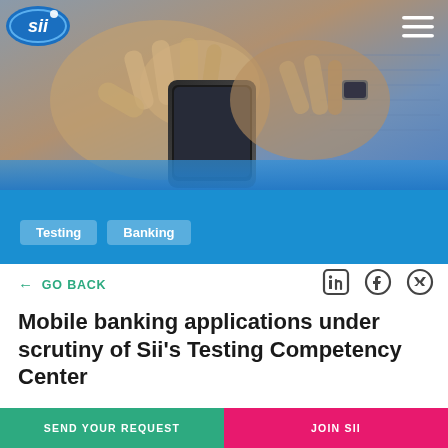[Figure (photo): Person's hands holding and tapping a smartphone on a desk with papers/charts in the background. Professional business setting. Sii logo and hamburger menu visible.]
Testing
Banking
← GO BACK
Mobile banking applications under scrutiny of Sii's Testing Competency Center
SEND YOUR REQUEST
JOIN SII